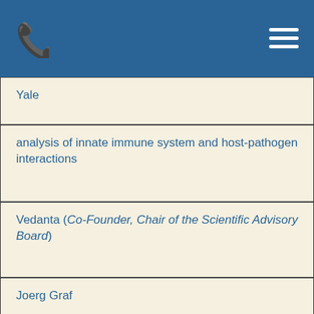| Yale |
| analysis of innate immune system and host-pathogen interactions |
| Vedanta (Co-Founder, Chair of the Scientific Advisory Board) |
| Joerg Graf |
| UConn |
| beneficial microbes, the evolution of microbe-host associations and the spread of |